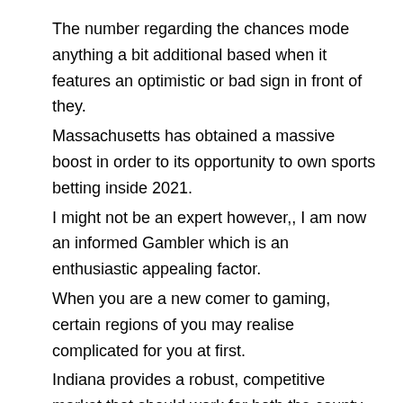The number regarding the chances mode anything a bit additional based when it features an optimistic or bad sign in front of they.
Massachusetts has obtained a massive boost in order to its opportunity to own sports betting inside 2021.
I might not be an expert however,, I am now an informed Gambler which is an enthusiastic appealing factor.
When you are a new comer to gaming, certain regions of you may realise complicated for you at first.
Indiana provides a robust, competitive market that should work for both the county and you will bettors.
People bets set which have a free choice otherwise parlay boost commonly not be part of the collective number. If your larger wager strikes, then your bettor receives almost all their profits, needless to say! The brand new totally free bet do expire otherwise utilized in this one week out of getting they. The brand